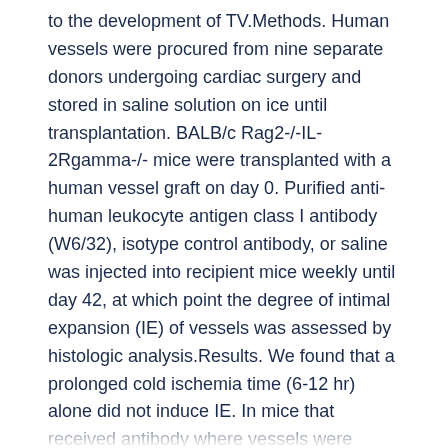to the development of TV.Methods. Human vessels were procured from nine separate donors undergoing cardiac surgery and stored in saline solution on ice until transplantation. BALB/c Rag2-/-IL-2Rgamma-/- mice were transplanted with a human vessel graft on day 0. Purified anti-human leukocyte antigen class I antibody (W6/32), isotype control antibody, or saline was injected into recipient mice weekly until day 42, at which point the degree of intimal expansion (IE) of vessels was assessed by histologic analysis.Results. We found that a prolonged cold ischemia time (6-12 hr) alone did not induce IE. In mice that received antibody where vessels were transplanted within 6 hr of procurement, no IE was observed. By contrast, in vessels exposed to more than 6 hr cold ischemia, both W6/32 antibody (30.4%T6.9%) and isotype control antibody(39.5%T6.0%) promoted significant IE (P<0.05 vs. saline [12.4%T1.7%]). Importantly, the isotype control antibody did not cross-react with human tissue. Interestingly, the number of mouse Fc-receptor-positive cells was significantly